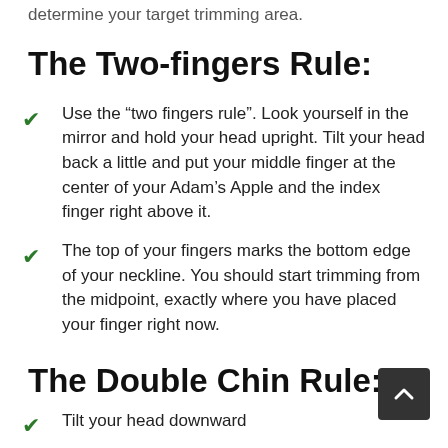determine your target trimming area.
The Two-fingers Rule:
Use the “two fingers rule”. Look yourself in the mirror and hold your head upright. Tilt your head back a little and put your middle finger at the center of your Adam’s Apple and the index finger right above it.
The top of your fingers marks the bottom edge of your neckline. You should start trimming from the midpoint, exactly where you have placed your finger right now.
The Double Chin Rule:
Tilt your head downward